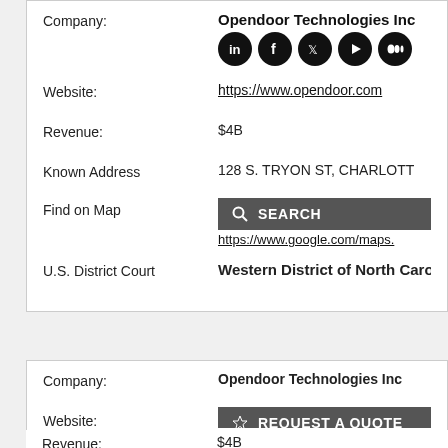Company: Opendoor Technologies Inc
Website: https://www.opendoor.com
Revenue: $4B
Known Address 128 S. TRYON ST, CHARLOTTE
Find on Map https://www.google.com/maps...
U.S. District Court Western District of North Carolina
Company: Opendoor Technologies Inc
Website: https://www.opendoor.com
Revenue: $4B